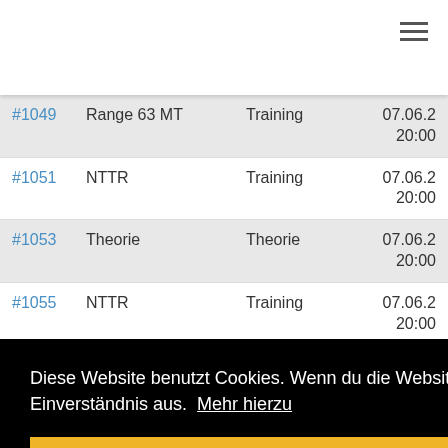#1049  Range 63 MT  Training  07.06.2... 20:00
#1051  NTTR  Training  07.06.2... 20:00
#1053  Theorie  Theorie  07.06.2... 20:00
#1055  NTTR  Training  07.06.2... 20:00
Diese Website benutzt Cookies. Wenn du die Website weiter nutzt, gehen wir von deinem Einverständnis aus.  Mehr hierzu
OK
#1042  NTTR  Training  31.05.2...